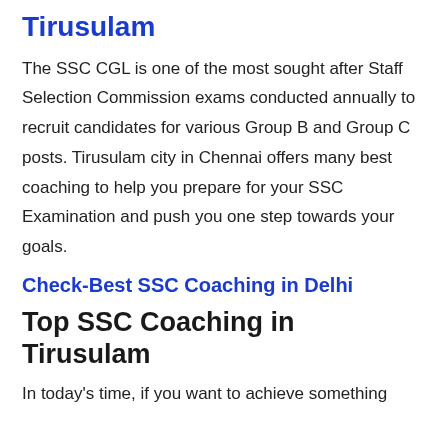Tirusulam
The SSC CGL is one of the most sought after Staff Selection Commission exams conducted annually to recruit candidates for various Group B and Group C posts. Tirusulam city in Chennai offers many best coaching to help you prepare for your SSC Examination and push you one step towards your goals.
Check-Best SSC Coaching in Delhi
Top SSC Coaching in Tirusulam
In today's time, if you want to achieve something